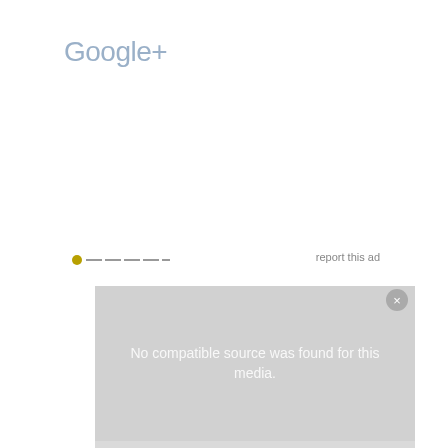Google+
report this ad
[Figure (screenshot): Video player overlay showing 'No compatible source was found for this media.' message on a grey background with a close button]